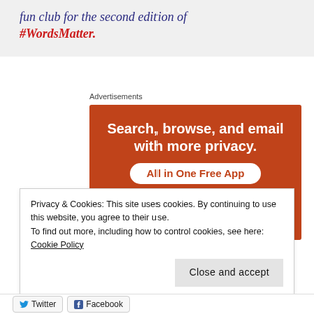fun club for the second edition of #WordsMatter.
Advertisements
[Figure (infographic): Orange advertisement banner for an app: 'Search, browse, and email with more privacy. All in One Free App' with a phone graphic and app logo at bottom.]
Privacy & Cookies: This site uses cookies. By continuing to use this website, you agree to their use.
To find out more, including how to control cookies, see here: Cookie Policy
Close and accept
Twitter   Facebook